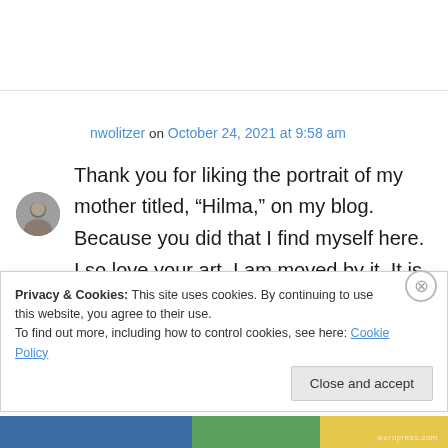[Figure (photo): Small circular avatar photo of a person]
nwolitzer on October 24, 2021 at 9:58 am
Thank you for liking the portrait of my mother titled, “Hilma,” on my blog. Because you did that I find myself here. I so love your art. I am moved by it. It is wonderful to read your artist statement. I have found it difficult to articulate so clearly as you why I make art, why I am where I am today
Privacy & Cookies: This site uses cookies. By continuing to use this website, you agree to their use.
To find out more, including how to control cookies, see here: Cookie Policy
Close and accept